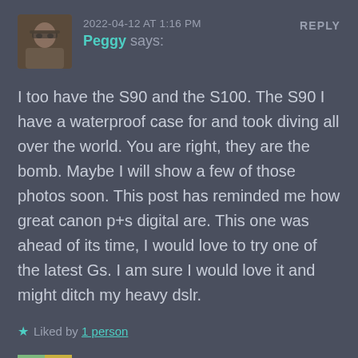2022-04-12 AT 1:16 PM
Peggy says:
REPLY
I too have the S90 and the S100. The S90 I have a waterproof case for and took diving all over the world. You are right, they are the bomb. Maybe I will show a few of those photos soon. This post has reminded me how great canon p+s digital are. This one was ahead of its time, I would love to try one of the latest Gs. I am sure I would love it and might ditch my heavy dslr.
★ Liked by 1 person
2022-04-12 AT 1:19 PM
REPLY